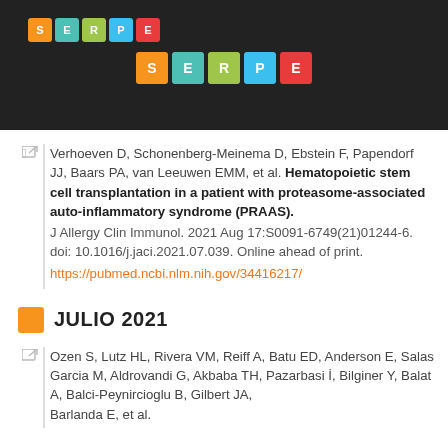[Figure (logo): SERPE logo tiles in header (top-left and center), colorful square letter tiles on dark background]
Verhoeven D, Schonenberg-Meinema D, Ebstein F, Papendorf JJ, Baars PA, van Leeuwen EMM, et al. Hematopoietic stem cell transplantation in a patient with proteasome-associated auto-inflammatory syndrome (PRAAS). J Allergy Clin Immunol. 2021 Aug 17:S0091-6749(21)01244-6. doi: 10.1016/j.jaci.2021.07.039. Online ahead of print. https://pubmed.ncbi.nlm.nih.gov/34416217/
JULIO 2021
Ozen S, Lutz HL, Rivera VM, Reiff A, Batu ED, Anderson E, Salas Garcia M, Aldrovandi G, Akbaba TH, Pazarbasi İ, Bilginer Y, Balat A, Balci-Peynircioglu B, Gilbert JA, Barlanda E, et al.